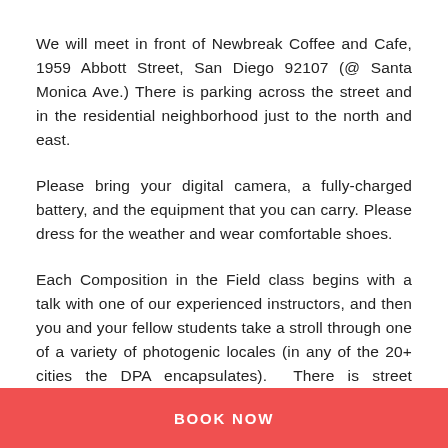We will meet in front of Newbreak Coffee and Cafe, 1959 Abbott Street, San Diego 92107 (@ Santa Monica Ave.) There is parking across the street and in the residential neighborhood just to the north and east.
Please bring your digital camera, a fully-charged battery, and the equipment that you can carry. Please dress for the weather and wear comfortable shoes.
Each Composition in the Field class begins with a talk with one of our experienced instructors, and then you and your fellow students take a stroll through one of a variety of photogenic locales (in any of the 20+ cities the DPA encapsulates). There is street photography, magnificent interiors, farmers markets, zoos, landscapes, and more, photos of which are included within. These photos are a
BOOK NOW